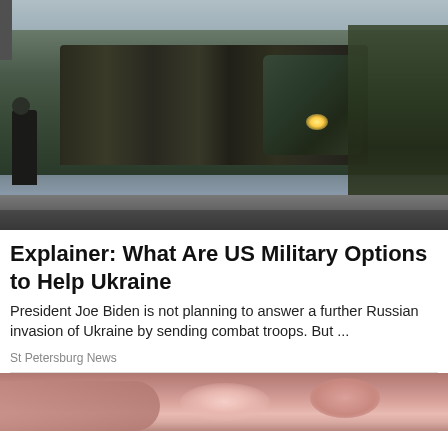[Figure (photo): Military armored vehicles in a convoy along a snowy road, with a soldier visible on the left side. Bare winter trees visible on the right. Overcast sky.]
Explainer: What Are US Military Options to Help Ukraine
President Joe Biden is not planning to answer a further Russian invasion of Ukraine by sending combat troops. But ...
St Petersburg News
[Figure (photo): Partial view of a second article image showing skin tones, cropped at the bottom of the page.]